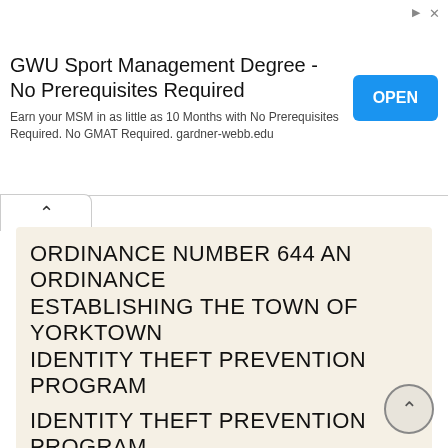[Figure (other): Advertisement banner: GWU Sport Management Degree - No Prerequisites Required. Button: OPEN. Text: Earn your MSM in as little as 10 Months with No Prerequisites Required. No GMAT Required. gardner-webb.edu]
ORDINANCE NUMBER 644 AN ORDINANCE ESTABLISHING THE TOWN OF YORKTOWN IDENTITY THEFT PREVENTION PROGRAM
ORDINANCE NUMBER 644 AN ORDINANCE ESTABLISHING THE TOWN OF YORKTOWN IDENTITY THEFT PREVENTION PROGRAM WHEREAS, the Federal Trade Commission, through 16 C.F.R. Part 681.1, adopted Identity Theft Rules requiring
More information →
IDENTITY THEFT PREVENTION PROGRAM
LEGAL REQUIREMENTS Section 114 of the